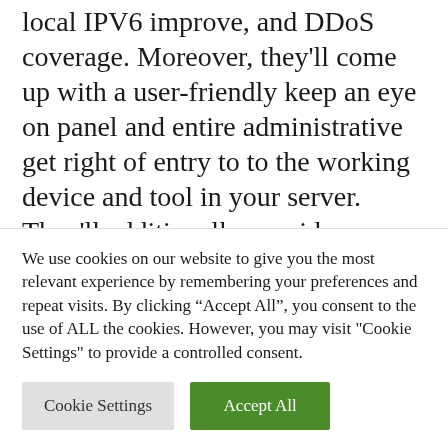local IPV6 improve, and DDoS coverage. Moreover, they'll come up with a user-friendly keep an eye on panel and entire administrative get right of entry to to the working device and tool in your server. They'll additionally provide you with complete root get right of entry to to the server and supply complete documentation so that you can perceive your whole choices. For pro purchasers, a Netherlands VPS supplier will have the ability to supply root get right of entry to and complete
We use cookies on our website to give you the most relevant experience by remembering your preferences and repeat visits. By clicking “Accept All”, you consent to the use of ALL the cookies. However, you may visit "Cookie Settings" to provide a controlled consent.